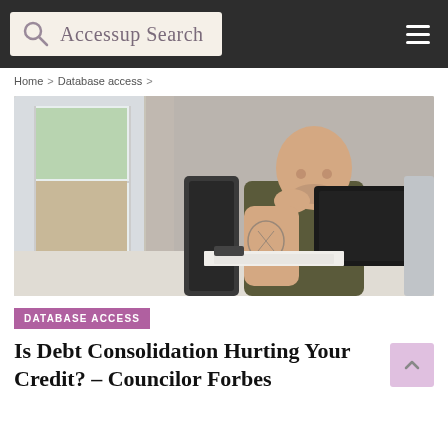Accessup Search
Home > Database access >
[Figure (photo): A bald man with tattoos sitting at a desk, looking concerned while reviewing documents and holding a folder/binder. Bright window in the background.]
DATABASE ACCESS
Is Debt Consolidation Hurting Your Credit? – Councilor Forbes